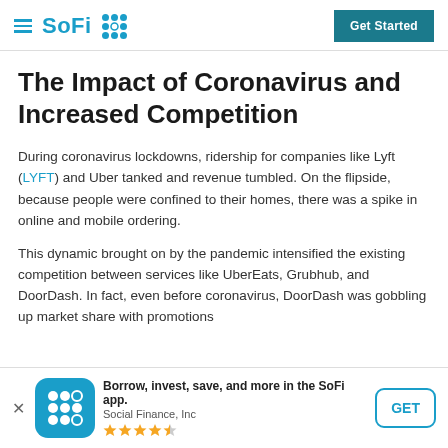SoFi | Get Started
The Impact of Coronavirus and Increased Competition
During coronavirus lockdowns, ridership for companies like Lyft (LYFT) and Uber tanked and revenue tumbled. On the flipside, because people were confined to their homes, there was a spike in online and mobile ordering.
This dynamic brought on by the pandemic intensified the existing competition between services like UberEats, Grubhub, and DoorDash. In fact, even before coronavirus, DoorDash was gobbling up market share with promotions
[Figure (logo): SoFi app banner with icon, text 'Borrow, invest, save, and more in the SoFi app. Social Finance, Inc' with star rating and GET button]